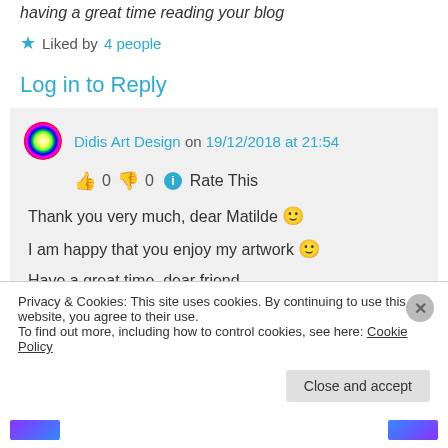having a great time reading your blog
★ Liked by 4 people
Log in to Reply
Didis Art Design on 19/12/2018 at 21:54
👍 0 👎 0 ℹ Rate This
Thank you very much, dear Matilde 🙂
I am happy that you enjoy my artwork 🙂
Have a great time, dear friend
Privacy & Cookies: This site uses cookies. By continuing to use this website, you agree to their use.
To find out more, including how to control cookies, see here: Cookie Policy
Close and accept